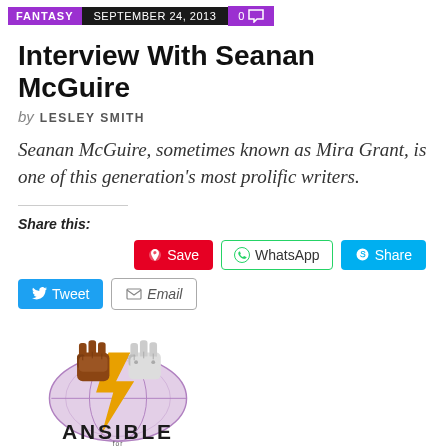FANTASY | SEPTEMBER 24, 2013 | 0 comments
Interview With Seanan McGuire
by LESLEY SMITH
Seanan McGuire, sometimes known as Mira Grant, is one of this generation's most prolific writers.
Share this:
[Figure (logo): Ansible magazine logo with two fists and a lightning bolt on a globe, with the text ANSIBLE below]